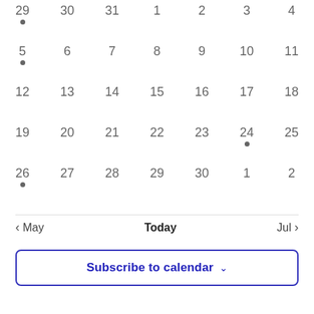[Figure (other): Calendar grid showing weeks of a month. Row 1: 29(dot), 30, 31, 1, 2, 3, 4. Row 2: 5(dot), 6, 7, 8, 9, 10, 11. Row 3: 12, 13, 14, 15, 16, 17, 18. Row 4: 19, 20, 21, 22, 23, 24(dot), 25. Row 5: 26(dot), 27, 28, 29, 30, 1, 2.]
< May   Today   Jul >
Subscribe to calendar ∨